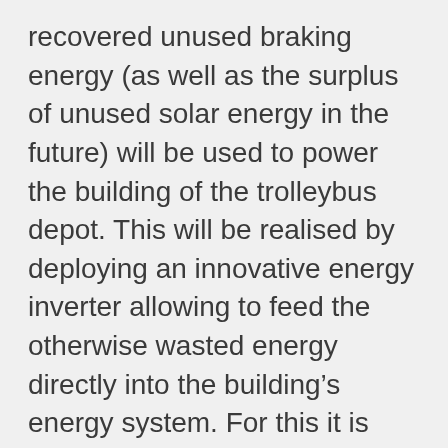recovered unused braking energy (as well as the surplus of unused solar energy in the future) will be used to power the building of the trolleybus depot. This will be realised by deploying an innovative energy inverter allowing to feed the otherwise wasted energy directly into the building's energy system. For this it is necessary to have a specifically designed DC/AC inverter placed in the depot for connecting the DC traction grid and the building's AC grid. The DC/AC inverter will thus enable to recover unused braking energy and feed it into the depot building. The device will also control